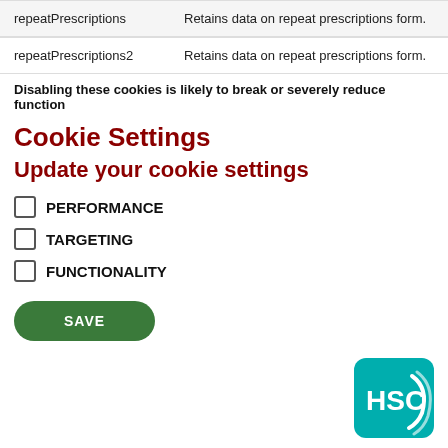| Name | Description |
| --- | --- |
| repeatPrescriptions | Retains data on repeat prescriptions form. |
| repeatPrescriptions2 | Retains data on repeat prescriptions form. |
Disabling these cookies is likely to break or severely reduce function
Cookie Settings
Update your cookie settings
PERFORMANCE
TARGETING
FUNCTIONALITY
[Figure (logo): HSC logo — teal rounded square with white HSC text and swoosh graphic]